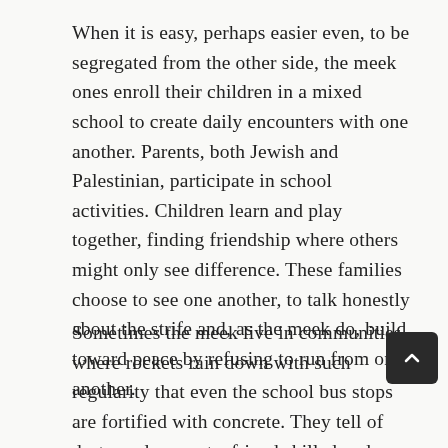When it is easy, perhaps easier even, to be segregated from the other side, the meek ones enroll their children in a mixed school to create daily encounters with one another. Parents, both Jewish and Palestinian, participate in school activities. Children learn and play together, finding friendship where others might only see difference. These families choose to see one another, to talk honestly about the strife and, as the meek do, build toward peace by refusing to run from one another.
Sometimes the meek live in communities where rockets rain down with such regularity that even the school bus stops are fortified with concrete. They tell of destroyed property, friends killed and tunnels too close to feel safe. And yet the meek beleive there is